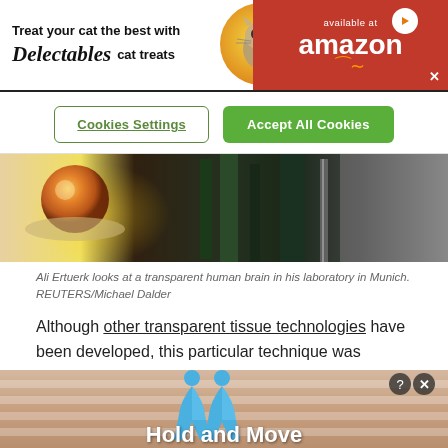[Figure (photo): Advertisement banner for Delectables cat treats, available at Amazon, featuring a cat image and red/white color scheme]
Cookies Settings   Accept All Cookies
[Figure (photo): Ali Ertuerk looks at a transparent human brain in his laboratory in Munich, showing scientific equipment and glowing brain specimen]
Ali Ertuerk looks at a transparent human brain in his laboratory in Munich. REUTERS/Michael Dalder
Although other transparent tissue technologies have been developed, this particular technique was
[Figure (photo): Bottom advertisement banner with 'Hold and Move' text and two blue figures]